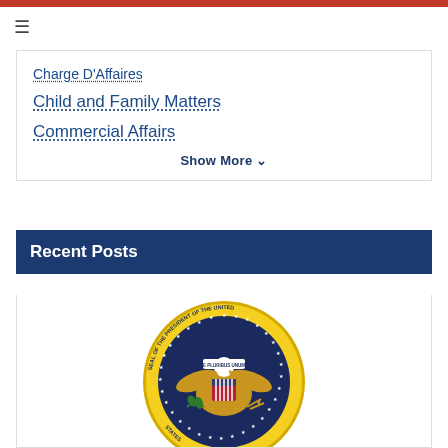Charge D'Affaires
Child and Family Matters
Commercial Affairs
Show More V
Recent Posts
[Figure (logo): Seal of the President of the United States — circular gold border with navy center featuring bald eagle holding olive branch and arrows, surrounded by stars, with text 'SEAL OF THE PRESIDENT OF THE UNITED STATES']
George P. Kent, Nominee for Ambassador Extraordinary and